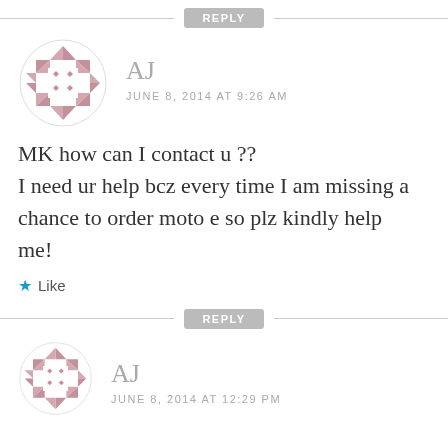[Figure (illustration): Gray REPLY button with horizontal lines on either side]
[Figure (illustration): Decorative avatar icon with mauve/rose geometric pattern - triangles and diamonds]
AJ
JUNE 8, 2014 AT 9:26 AM
MK how can I contact u ?? I need ur help bcz every time I am missing a chance to order moto e so plz kindly help me!
Like
[Figure (illustration): Gray REPLY button with horizontal lines on either side]
[Figure (illustration): Decorative avatar icon with mauve/rose geometric pattern - triangles and diamonds]
AJ
JUNE 8, 2014 AT 12:29 PM